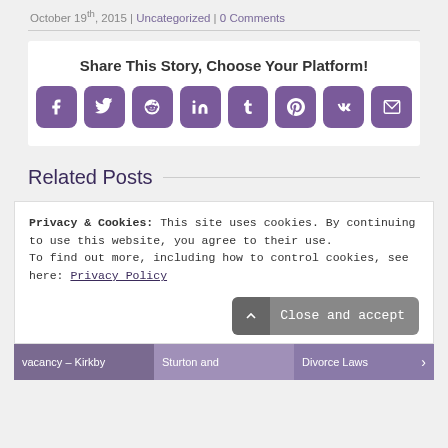October 19th, 2015 | Uncategorized | 0 Comments
[Figure (infographic): Share This Story, Choose Your Platform! with 8 social media icon buttons: Facebook, Twitter, Reddit, LinkedIn, Tumblr, Pinterest, VK, Email]
Related Posts
Privacy & Cookies: This site uses cookies. By continuing to use this website, you agree to their use. To find out more, including how to control cookies, see here: Privacy Policy
Close and accept
vacancy – Kirkby  Sturton and  Divorce Laws